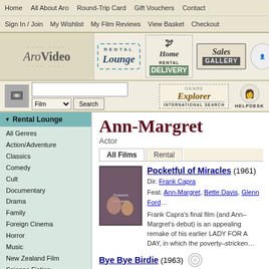Home | All About Aro | Round-Trip Card | Gift Vouchers | Contact
Sign In / Join | My Wishlist | My Film Reviews | View Basket | Checkout
[Figure (logo): AroVideo logo with Rental Lounge, Home Rental Delivery, and Sales Gallery banner icons]
[Figure (screenshot): Search bar with Film dropdown and Search button, Genre Explorer and International Search, Helpdesk]
Rental Lounge
All Genres
Action/Adventure
Classics
Comedy
Cult
Documentary
Drama
Family
Foreign Cinema
Horror
Music
New Zealand Film
Science Fiction
Suspense/Crime
Television
Coming Soon
Staff Selections
Ann-Margret
Actor
All Films | Rental
Pocketful of Miracles (1961)
Dir. Frank Capra
Feat. Ann-Margret, Bette Davis, Glenn Ford...
Frank Capra's final film (and Ann–Margret's debut) is an appealing remake of his earlier LADY FOR A DAY, in which the poverty–stricken…
Bye Bye Birdie (1963)
Dir. George Sidney
Feat. Dick Van Dyke, Ann-Margret